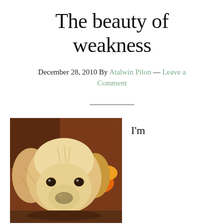The beauty of weakness
December 28, 2010 By Atalwin Pilon — Leave a Comment
[Figure (photo): Close-up photo of a golden retriever puppy with fluffy light fur, dark eyes, looking at the camera. Background shows colorful flowers.]
I'm